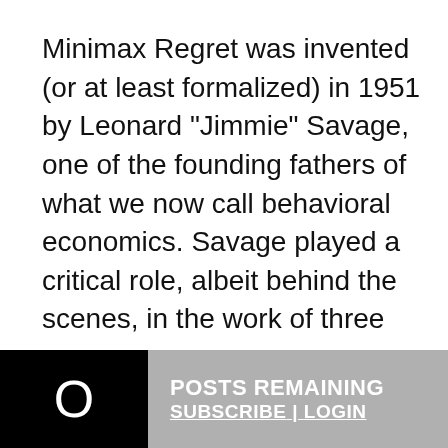Minimax Regret was invented (or at least formalized) in 1951 by Leonard "Jimmie" Savage, one of the founding fathers of what we now call behavioral economics. Savage played a critical role, albeit behind the scenes, in the work of three
We use cookies to optimize our website and our service.
Accept cookies
Deny
View preferences
O  POSTS REMAINING  X  SUBSCRIBE | LOGIN